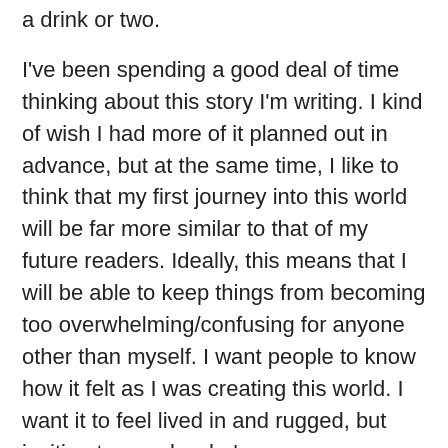a drink or two.
I've been spending a good deal of time thinking about this story I'm writing. I kind of wish I had more of it planned out in advance, but at the same time, I like to think that my first journey into this world will be far more similar to that of my future readers. Ideally, this means that I will be able to keep things from becoming too overwhelming/confusing for anyone other than myself. I want people to know how it felt as I was creating this world. I want it to feel lived in and rugged, but inviting to people who've never experienced anything quite like it (ideally, this will be all of my readers).
I hate when I read a novel and get overwhelmed with crap. I like something I'm reading to be accessible with a minimal level of extra effort required, especially if it's the start of a series. If it's a writer I've read before, there will be some level of trust. If it's something that I have not